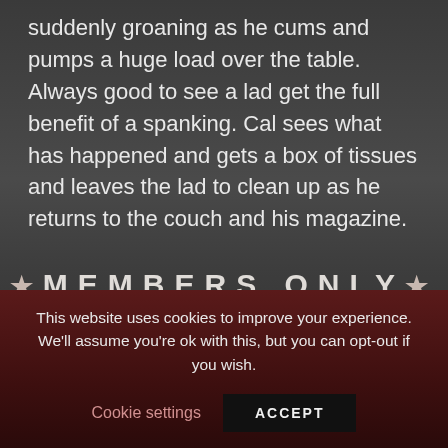suddenly groaning as he cums and pumps a huge load over the table. Always good to see a lad get the full benefit of a spanking. Cal sees what has happened and gets a box of tissues and leaves the lad to clean up as he returns to the couch and his magazine.
★MEMBERS ONLY★
Sorry, this video is from our old archive and is only available for download.
This website uses cookies to improve your experience. We'll assume you're ok with this, but you can opt-out if you wish.
Cookie settings   ACCEPT